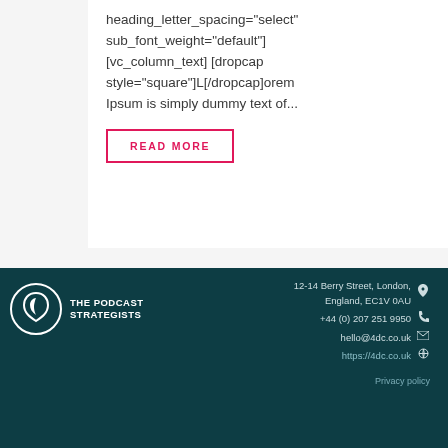heading_letter_spacing="select" sub_font_weight="default"] [vc_column_text] [dropcap style="square"]L[/dropcap]orem Ipsum is simply dummy text of...
READ MORE
12-14 Berry Street, London, England, EC1V 0AU
+44 (0) 207 251 9950
hello@4dc.co.uk
https://4dc.co.uk
Privacy policy